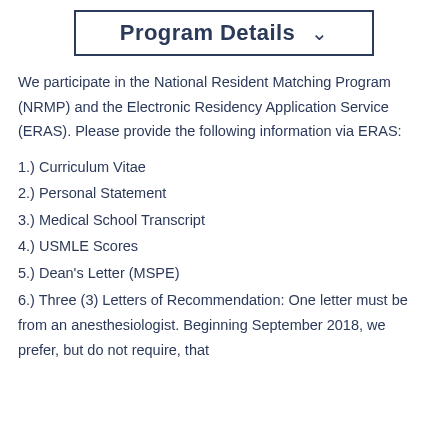Program Details
We participate in the National Resident Matching Program (NRMP) and the Electronic Residency Application Service (ERAS). Please provide the following information via ERAS:
1.) Curriculum Vitae
2.) Personal Statement
3.) Medical School Transcript
4.) USMLE Scores
5.) Dean's Letter (MSPE)
6.) Three (3) Letters of Recommendation: One letter must be from an anesthesiologist. Beginning September 2018, we prefer, but do not require, that